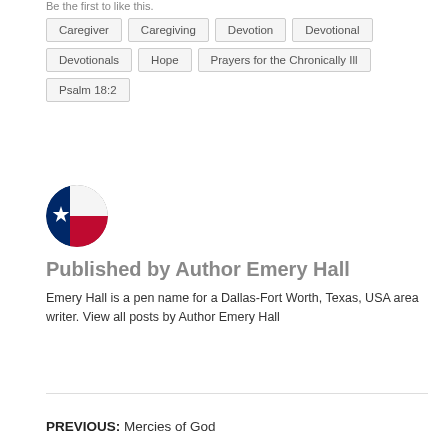Be the first to like this.
Caregiver
Caregiving
Devotion
Devotional
Devotionals
Hope
Prayers for the Chronically Ill
Psalm 18:2
[Figure (photo): Circular avatar showing Texas flag with blue, red and white colors and a white star]
Published by Author Emery Hall
Emery Hall is a pen name for a Dallas-Fort Worth, Texas, USA area writer. View all posts by Author Emery Hall
PREVIOUS: Mercies of God